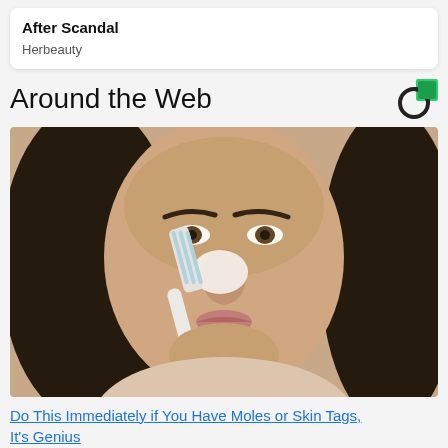After Scandal
Herbeauty
Around the Web
[Figure (photo): Woman with dark hair holding a toothbrush to her nose, applying something white to it, beauty/skincare tutorial style photo]
Do This Immediately if You Have Moles or Skin Tags, It's Genius